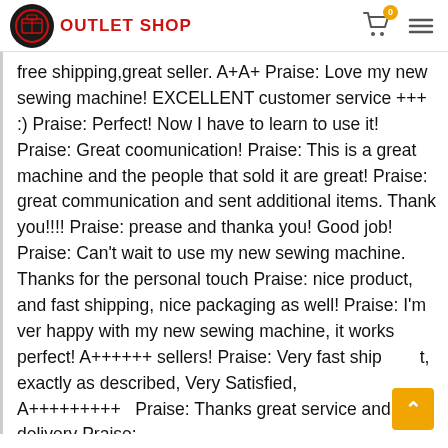OUTLET SHOP
free shipping,great seller.  A+A+  Praise: Love my new sewing machine! EXCELLENT customer service +++ :) Praise: Perfect! Now I have to learn to use it!  Praise: Great coomunication!  Praise: This is a great machine and the people that sold it are great!  Praise: great communication and sent additional items. Thank you!!!!  Praise: prease and thanka you! Good job!  Praise: Can't wait to use my new sewing machine. Thanks for the personal touch  Praise: nice product, and fast shipping, nice packaging as well!  Praise: I'm ver happy with my new sewing machine, it works perfect! A++++++  sellers!  Praise: Very fast shipping, exactly as described, Very Satisfied, A+++++++++  Praise: Thanks great service and fast delivery  Praise: Wonderful folks to deal with, went above and